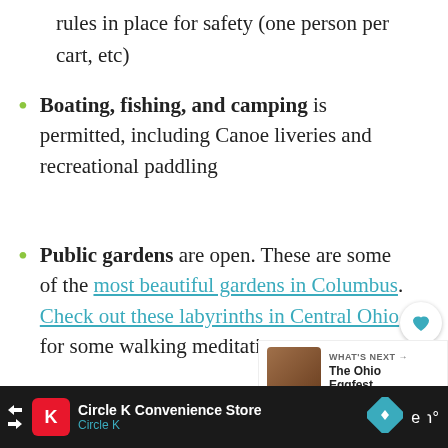rules in place for safety (one person per cart, etc)
Boating, fishing, and camping is permitted, including Canoe liveries and recreational paddling
Public gardens are open. These are some of the most beautiful gardens in Columbus. Check out these labyrinths in Central Ohio for some walking meditation.
Garden stores and nurseries are open; curbside pickup is available at many
[Figure (screenshot): UI buttons: heart/favorite and share icons on right side]
[Figure (screenshot): What's Next overlay: The Ohio Eggfest...]
[Figure (screenshot): Advertisement bar: Circle K Convenience Store, Circle K]